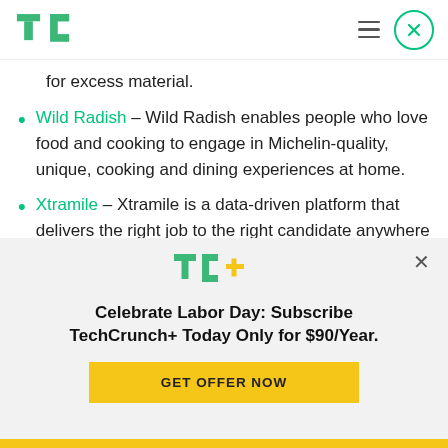TechCrunch logo, hamburger menu, close button
for excess material.
Wild Radish – Wild Radish enables people who love food and cooking to engage in Michelin-quality, unique, cooking and dining experiences at home.
Xtramile – Xtramile is a data-driven platform that delivers the right job to the right candidate anywhere online
[Figure (logo): TC+ TechCrunch Plus logo in green and yellow]
Celebrate Labor Day: Subscribe TechCrunch+ Today Only for $90/Year.
GET OFFER NOW